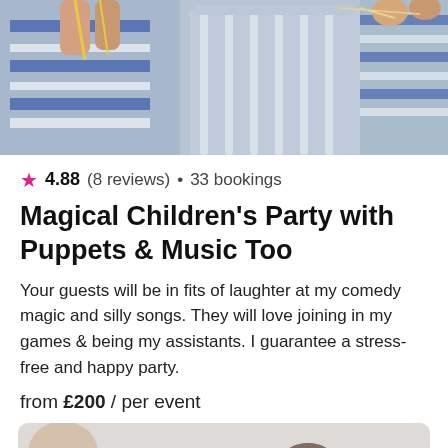[Figure (photo): Photo of people with puppets and striped fabric/crib in the background]
4.88 (8 reviews) • 33 bookings
Magical Children's Party with Puppets & Music Too
Your guests will be in fits of laughter at my comedy magic and silly songs. They will love joining in my games & being my assistants. I guarantee a stress-free and happy party.
from £200 / per event
[Figure (photo): Photo of children getting face painting done, showing a girl with Wonder Woman face paint and another person looking on with a phone]